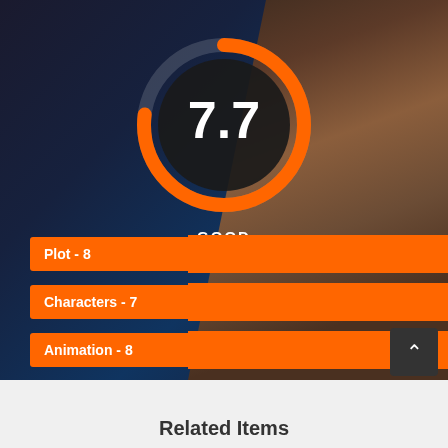[Figure (donut-chart): Circular gauge showing score 7.7 GOOD with orange arc]
Plot - 8
Characters - 7
Animation - 8
Related Items